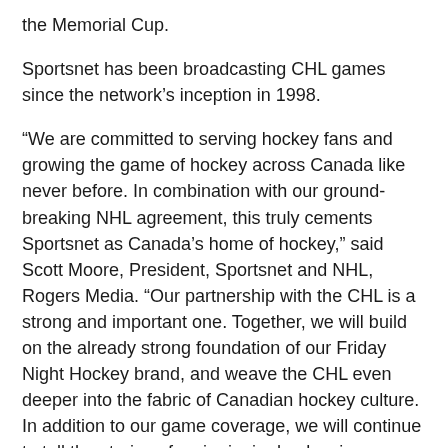the Memorial Cup.
Sportsnet has been broadcasting CHL games since the network's inception in 1998.
“We are committed to serving hockey fans and growing the game of hockey across Canada like never before. In combination with our ground-breaking NHL agreement, this truly cements Sportsnet as Canada’s home of hockey,” said Scott Moore, President, Sportsnet and NHL, Rogers Media. “Our partnership with the CHL is a strong and important one. Together, we will build on the already strong foundation of our Friday Night Hockey brand, and weave the CHL even deeper into the fabric of Canadian hockey culture. In addition to our game coverage, we will continue to tell the stories of major junior hockey in Canada, build stars, and remain with them on their journey through the NHL.”
“This is a very exciting day for the Canadian Hockey League as we continue to grow our relationship with Sportsnet and TVA Sports over the next 12 years,” said CHL President David Branch. “The CHL’s partnership with Sportsnet began